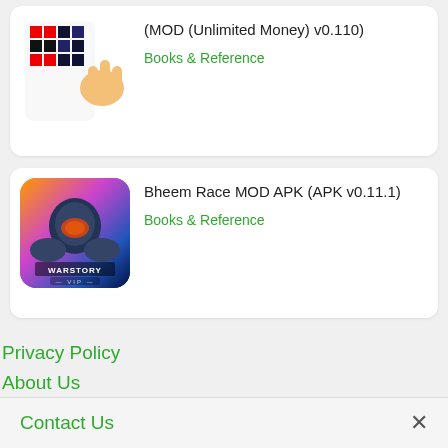[Figure (illustration): App icon showing pixel art with a hand gesture, colored squares in red, black and blue pattern]
(MOD (Unlimited Money) v0.110)
Books & Reference
[Figure (illustration): App icon for Warstory VIP showing a warrior in armor with sci-fi helmet on colorful background]
Bheem Race MOD APK (APK v0.11.1)
Books & Reference
Privacy Policy
About Us
Contact Us